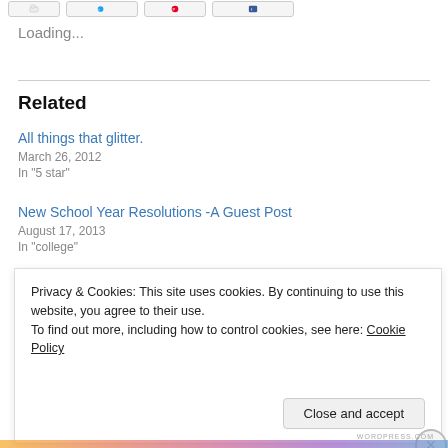Loading...
Related
All things that glitter.
March 26, 2012
In "5 star"
New School Year Resolutions -A Guest Post
August 17, 2013
In "college"
Privacy & Cookies: This site uses cookies. By continuing to use this website, you agree to their use.
To find out more, including how to control cookies, see here: Cookie Policy